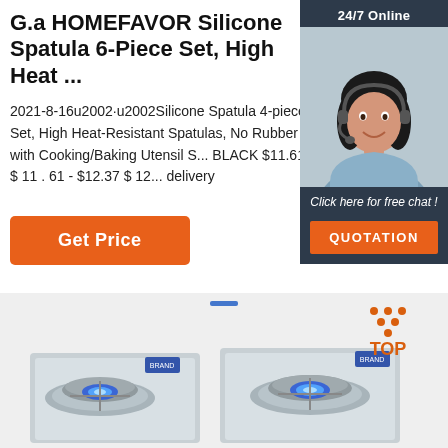G.a HOMEFAVOR Silicone Spatula 6-Piece Set, High Heat ...
2021-8-16u2002·u2002Silicone Spatula 4-piece Set, High Heat-Resistant Spatulas, No Rubber with Cooking/Baking Utensil S... BLACK $11.61 $ 11 . 61 - $12.37 $ 12... delivery
[Figure (infographic): Orange 'Get Price' button]
[Figure (infographic): 24/7 Online chat widget with woman wearing headset, 'Click here for free chat!' text, and orange QUOTATION button]
[Figure (photo): Product image area showing stainless steel gas stove burners with blue flames, light grey background, and orange TOP badge with dots in top right corner]